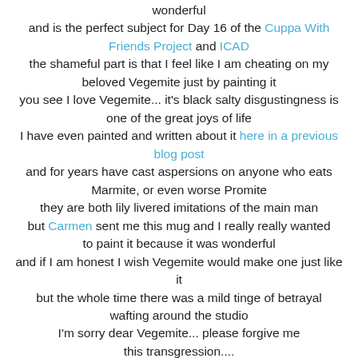wonderful and is the perfect subject for Day 16 of the Cuppa With Friends Project and ICAD the shameful part is that I feel like I am cheating on my beloved Vegemite just by painting it you see I love Vegemite... it's black salty disgustingness is one of the great joys of life I have even painted and written about it here in a previous blog post and for years have cast aspersions on anyone who eats Marmite, or even worse Promite they are both lily livered imitations of the main man but Carmen sent me this mug and I really really wanted to paint it because it was wonderful and if I am honest I wish Vegemite would make one just like it but the whole time there was a mild tinge of betrayal wafting around the studio I'm sorry dear Vegemite... please forgive me this transgression....